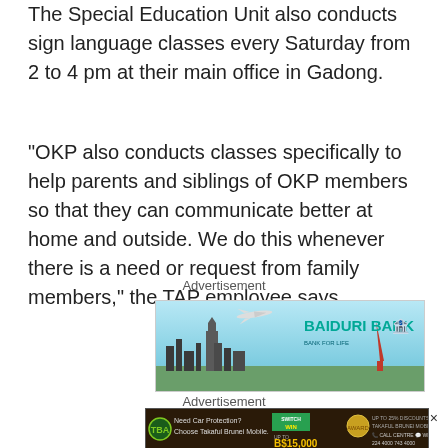The Special Education Unit also conducts sign language classes every Saturday from 2 to 4 pm at their main office in Gadong.
“OKP also conducts classes specifically to help parents and siblings of OKP members so that they can communicate better at home and outside. We do this whenever there is a need or request from family members,” the TAP employee says.
Advertisement
[Figure (photo): Baiduri Bank advertisement banner showing a cityscape skyline with an airplane, and the Baiduri Bank logo in teal green text.]
Advertisement
[Figure (photo): TBA - Takaful Brunei Mobile advertisement banner on dark background promoting car protection with 'Switch & Win' offer up to B$15,000, showing call centre and WhatsApp numbers.]